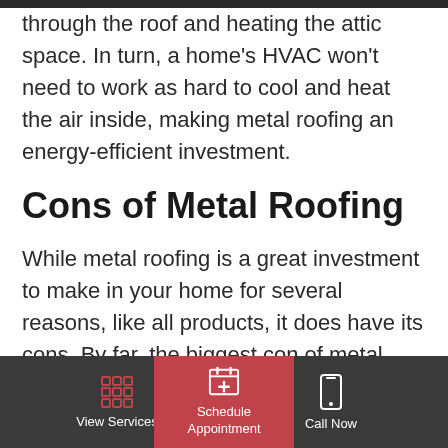heat, preventing it from transferring through the roof and heating the attic space. In turn, a home's HVAC won't need to work as hard to cool and heat the air inside, making metal roofing an energy-efficient investment.
Cons of Metal Roofing
While metal roofing is a great investment to make in your home for several reasons, like all products, it does have its cons. By far, the biggest con of metal roofing is the cost. This type of roofing tends to be more expensive than other roofing materials in any
View Services | Schedule Appointment | Call Now